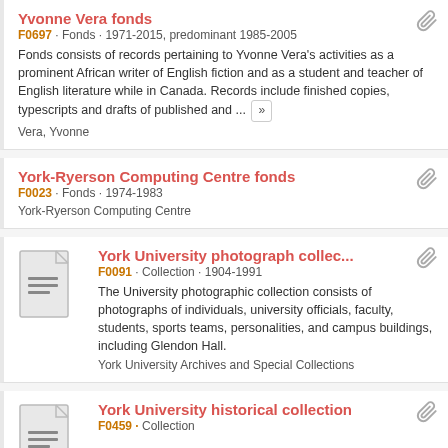Yvonne Vera fonds
F0697 · Fonds · 1971-2015, predominant 1985-2005
Fonds consists of records pertaining to Yvonne Vera's activities as a prominent African writer of English fiction and as a student and teacher of English literature while in Canada. Records include finished copies, typescripts and drafts of published and ...
Vera, Yvonne
York-Ryerson Computing Centre fonds
F0023 · Fonds · 1974-1983
York-Ryerson Computing Centre
York University photograph collec...
F0091 · Collection · 1904-1991
The University photographic collection consists of photographs of individuals, university officials, faculty, students, sports teams, personalities, and campus buildings, including Glendon Hall.
York University Archives and Special Collections
York University historical collection